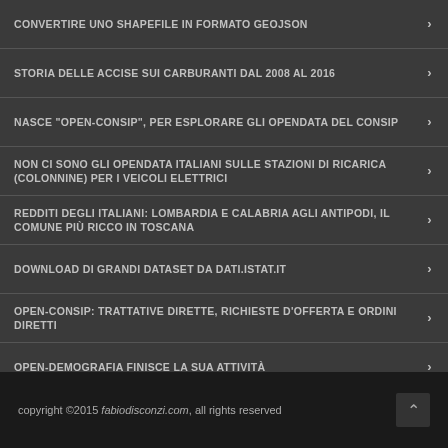CONVERTIRE UNO SHAPEFILE IN FORMATO GEOJSON
STORIA DELLE ACCISE SUI CARBURANTI DAL 2008 AL 2016
NASCE "OPEN-CONSIP", PER ESPLORARE GLI OPENDATA DEL CONSIP
NON CI SONO GLI OPENDATA ITALIANI SULLE STAZIONI DI RICARICA (COLONNINE) PER I VEICOLI ELETTRICI
REDDITI DEGLI ITALIANI: LOMBARDIA E CALABRIA AGLI ANTIPODI, IL COMUNE PIÙ RICCO IN TOSCANA
DOWNLOAD DI GRANDI DATASET DA DATI.ISTAT.IT
OPEN-CONSIP: TRATTATIVE DIRETTE, RICHIESTE D'OFFERTA E ORDINI DIRETTI
OPEN-DEMOGRAFIA FINISCE LA SUA ATTIVITÀ
PARCO CIRCOLANTE AUTOVETTURE IN ITALIA, ANNO 2015
copyright ©2015 fabiodisconzi.com, all rights reserved